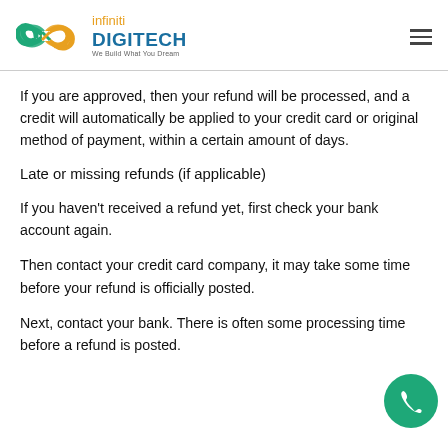[Figure (logo): Infiniti Digitech logo with infinity symbol and brand text]
If you are approved, then your refund will be processed, and a credit will automatically be applied to your credit card or original method of payment, within a certain amount of days.
Late or missing refunds (if applicable)
If you haven't received a refund yet, first check your bank account again.
Then contact your credit card company, it may take some time before your refund is officially posted.
Next, contact your bank. There is often some processing time before a refund is posted.